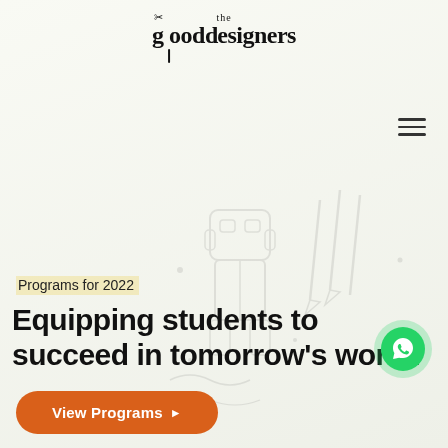[Figure (logo): The Good Designers logo with fork/scissor icon above the 'g', stylized lowercase text reading 'the gooddesigners']
[Figure (illustration): Faint line art background illustration of a robot/character and pencils, school-related doodles]
Programs for 2022
Equipping students to succeed in tomorrow's world.
[Figure (other): Orange rounded button labeled 'View Programs' with right-pointing arrow]
[Figure (other): WhatsApp green circular button icon in top right area]